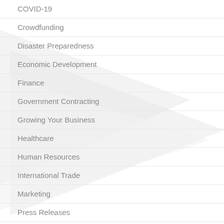COVID-19
Crowdfunding
Disaster Preparedness
Economic Development
Finance
Government Contracting
Growing Your Business
Healthcare
Human Resources
International Trade
Marketing
Press Releases
Radio and Podcast
Starting a Business